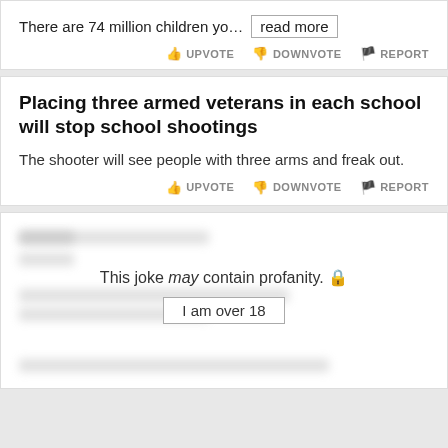There are 74 million children yo…  read more
UPVOTE  DOWNVOTE  REPORT
Placing three armed veterans in each school will stop school shootings
The shooter will see people with three arms and freak out.
UPVOTE  DOWNVOTE  REPORT
This joke may contain profanity. 🔒
I am over 18